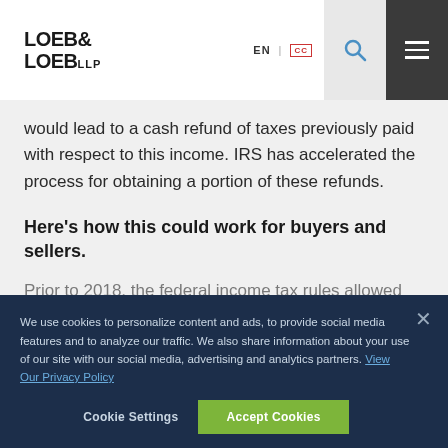LOEB & LOEB LLP — EN — navigation header
would lead to a cash refund of taxes previously paid with respect to this income. IRS has accelerated the process for obtaining a portion of these refunds.
Here’s how this could work for buyers and sellers.
Prior to 2018, the federal income tax rules allowed
We use cookies to personalize content and ads, to provide social media features and to analyze our traffic. We also share information about your use of our site with our social media, advertising and analytics partners. View Our Privacy Policy
Cookie Settings | Accept Cookies